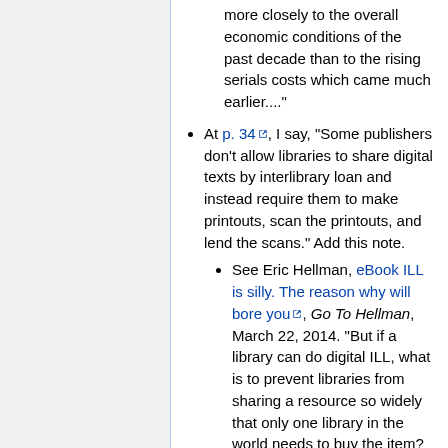more closely to the overall economic conditions of the past decade than to the rising serials costs which came much earlier....
At p. 34, I say, "Some publishers don't allow libraries to share digital texts by interlibrary loan and instead require them to make printouts, scan the printouts, and lend the scans." Add this note.
See Eric Hellman, eBook ILL is silly. The reason why will bore you, Go To Hellman, March 22, 2014. "But if a library can do digital ILL, what is to prevent libraries from sharing a resource so widely that only one library in the world needs to buy the item? The solution that e-journal